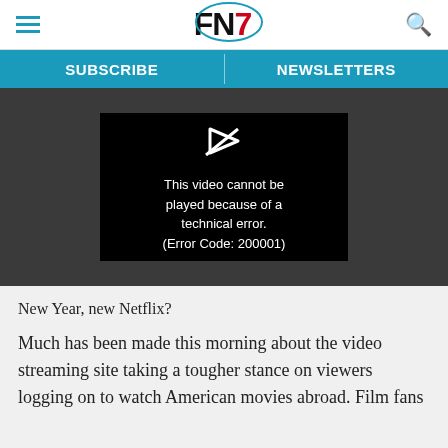FN7 - hamburger menu and search icons
SUBSCRIBE | NEWSLETTERS
[Figure (screenshot): Video player error screen showing a black box with a broken video icon and text: 'This video cannot be played because of a technical error. (Error Code: 200001)']
New Year, new Netflix?
Much has been made this morning about the video streaming site taking a tougher stance on viewers logging on to watch American movies abroad. Film fans